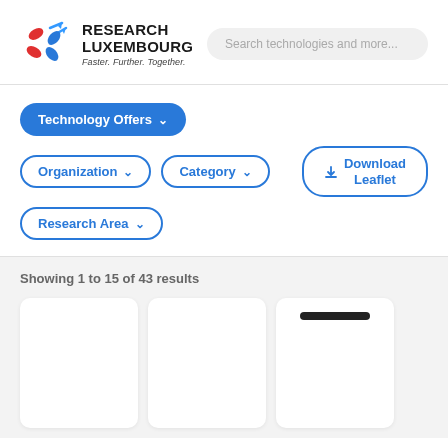[Figure (logo): Research Luxembourg logo with colored cross/arrows icon and tagline 'Faster. Further. Together.']
Search technologies and more...
Technology Offers
Organization
Category
Download Leaflet
Research Area
Showing 1 to 15 of 43 results
[Figure (screenshot): Three white result cards below the results count, the third card has a dark bar image near the top]